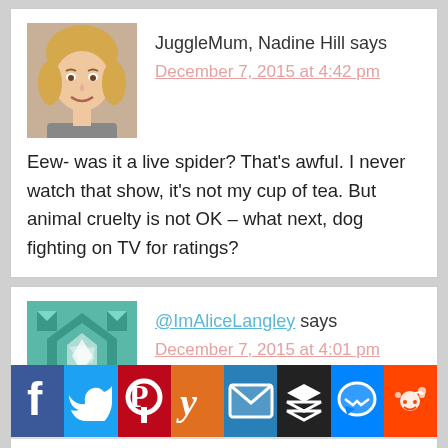JuggleMum, Nadine Hill says
December 7, 2015 at 4:42 pm
Eew- was it a live spider? That's awful. I never watch that show, it's not my cup of tea. But animal cruelty is not OK – what next, dog fighting on TV for ratings?
@ImAliceLangley says
December 7, 2015 at 4:01 pm
The show isn't one I watch for many reasons – but I do agree all animals
[Figure (infographic): Social sharing toolbar with icons: Facebook (blue), Twitter (blue), Pinterest (red), Yummly (orange), Email (blue), Buffer/layers (black), Messenger (blue), Reddit (orange)]
Share / Save